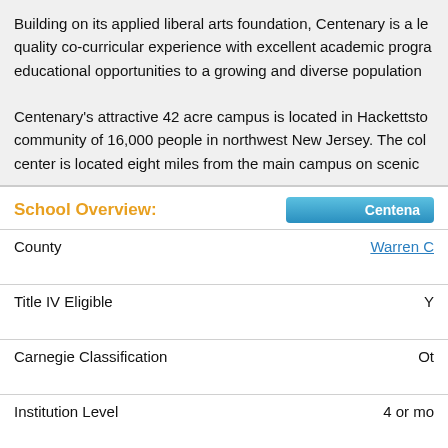Building on its applied liberal arts foundation, Centenary is a le quality co-curricular experience with excellent academic progra educational opportunities to a growing and diverse population
Centenary's attractive 42 acre campus is located in Hackettsto community of 16,000 people in northwest New Jersey. The col center is located eight miles from the main campus on scenic
School Overview:
| Field | Value |
| --- | --- |
| County | Warren C |
| Title IV Eligible | Y |
| Carnegie Classification | Ot |
| Institution Level | 4 or mo |
| Institution Control | Private, |
| Instructional Staff Total
(research/public service staff included) | 232 staff |